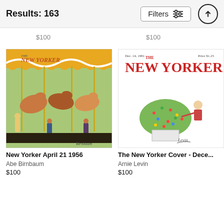Results: 163
$100   $100
[Figure (illustration): New Yorker magazine cover April 21 1956 showing a carousel with painted horses, colorful canopy, and people in a park setting. Illustrated by Abe Birnbaum.]
New Yorker April 21 1956
Abe Birnbaum
$100
[Figure (illustration): The New Yorker magazine cover December issue showing a cartoon of a person dealing with a Christmas tree covered in lights. Illustrated by Arnie Levin.]
The New Yorker Cover - Dece...
Arnie Levin
$100